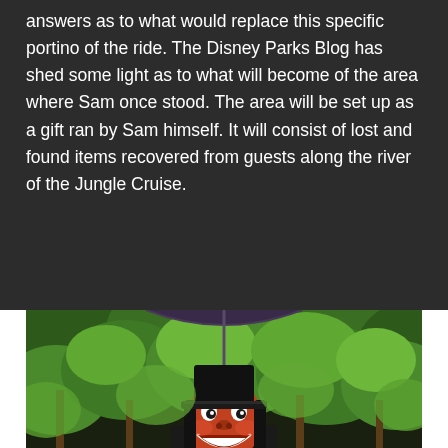answers as to what would replace this specific portino of the ride. The Disney Parks Blog has shed some light as to what will become of the area where Sam once stood. The area will be set up as a gift ran by Sam himself. It will consist of lost and found items recovered from guests along the river of the Jungle Cruise.
[Figure (photo): A Jungle Cruise animatronic or costumed character resembling a figure wearing a black top hat and dark cloak with exaggerated facial features, surrounded by tropical green foliage and trees.]